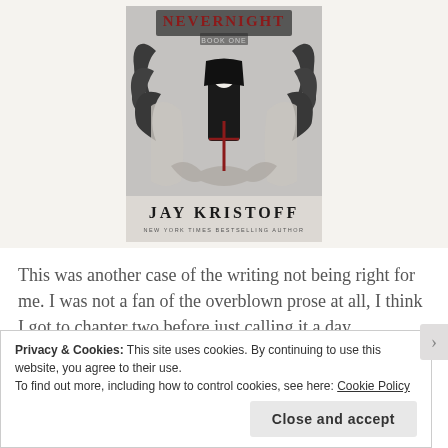[Figure (illustration): Book cover of 'Nevernight' by Jay Kristoff - Book One. Dark fantasy cover art showing a robed figure with a white mask holding a weapon, surrounded by large dark wings and ornate baroque stone carvings in black and white with red accent. Author name 'JAY KRISTOFF' in large letters at the bottom with 'NEW YORK TIMES BESTSELLING AUTHOR' beneath.]
This was another case of the writing not being right for me. I was not a fan of the overblown prose at all, I think I got to chapter two before just calling it a day.
Privacy & Cookies: This site uses cookies. By continuing to use this website, you agree to their use.
To find out more, including how to control cookies, see here: Cookie Policy
Close and accept